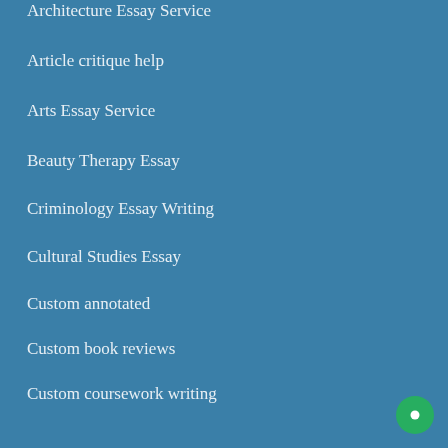Architecture Essay Service
Article critique help
Arts Essay Service
Beauty Therapy Essay
Criminology Essay Writing
Cultural Studies Essay
Custom annotated
Custom book reviews
Custom coursework writing
Design Essay Writing
Economics Essay Service
Education Essay Service
Engineering Essay Writing